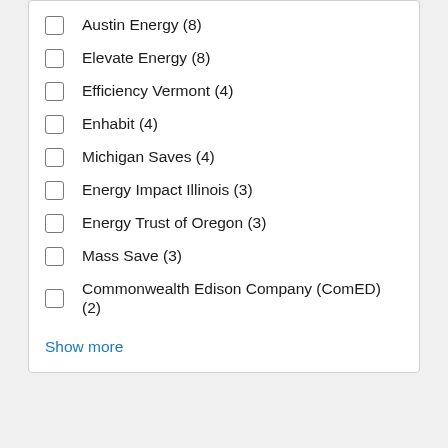Austin Energy (8)
Elevate Energy (8)
Efficiency Vermont (4)
Enhabit (4)
Michigan Saves (4)
Energy Impact Illinois (3)
Energy Trust of Oregon (3)
Mass Save (3)
Commonwealth Edison Company (ComED) (2)
Show more